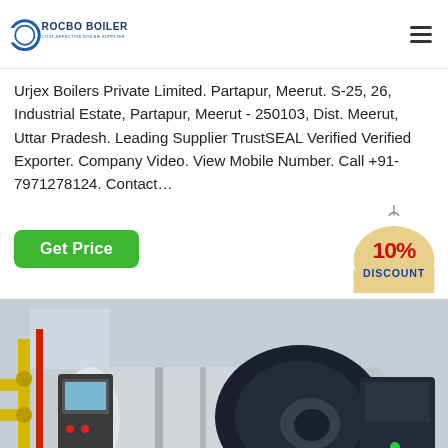ROCBO BOILER - COST-EFFECTIVE BOILER SUPPLIER
Urjex Boilers Private Limited. Partapur, Meerut. S-25, 26, Industrial Estate, Partapur, Meerut - 250103, Dist. Meerut, Uttar Pradesh. Leading Supplier TrustSEAL Verified Verified Exporter. Company Video. View Mobile Number. Call +91-7971278124. Contact…
[Figure (infographic): Get Price green button and 10% DISCOUNT badge]
[Figure (photo): Industrial boiler equipment with yellow gas pipes and control panel in a boiler room]